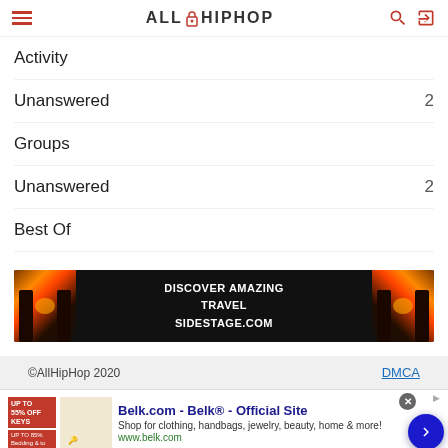ALLHIPHOP
Activity
Unanswered  2
Groups
Unanswered  2
Best Of
[Figure (infographic): Travel advertisement banner: DISCOVER AMAZING TRAVEL SIDESTAGE.COM with sunset/ocean imagery on both sides]
©AllHipHop 2020  DMCA
[Figure (infographic): Bottom advertisement for Belk.com - Belk® - Official Site. Shop for clothing, handbags, jewelry, beauty, home & more! www.belk.com]